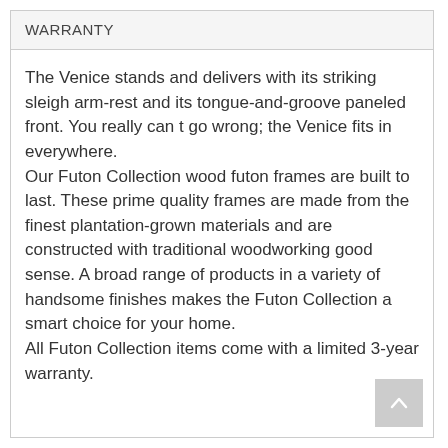WARRANTY
The Venice stands and delivers with its striking sleigh arm-rest and its tongue-and-groove paneled front. You really can t go wrong; the Venice fits in everywhere.
Our Futon Collection wood futon frames are built to last. These prime quality frames are made from the finest plantation-grown materials and are constructed with traditional woodworking good sense. A broad range of products in a variety of handsome finishes makes the Futon Collection a smart choice for your home.
All Futon Collection items come with a limited 3-year warranty.